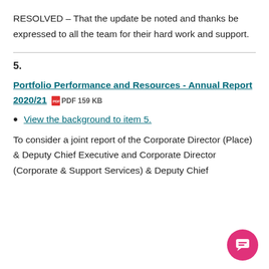RESOLVED – That the update be noted and thanks be expressed to all the team for their hard work and support.
5.
Portfolio Performance and Resources - Annual Report 2020/21 PDF 159 KB
View the background to item 5.
To consider a joint report of the Corporate Director (Place) & Deputy Chief Executive and Corporate Director (Corporate & Support Services) & Deputy Chief